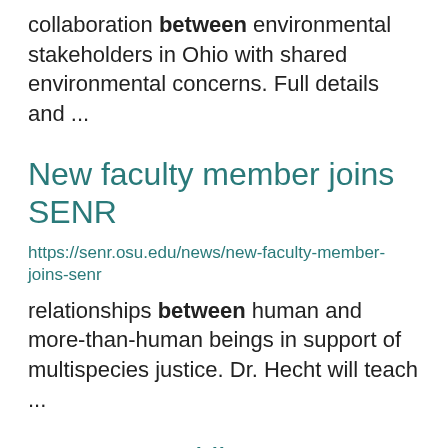collaboration between environmental stakeholders in Ohio with shared environmental concerns. Full details and ...
New faculty member joins SENR
https://senr.osu.edu/news/new-faculty-member-joins-senr
relationships between human and more-than-human beings in support of multispecies justice. Dr. Hecht will teach ...
OCVN Franklin County 2022
https://ocvn.osu.edu/events/ocvn-franklin-county-2022
modules.  The session topics include